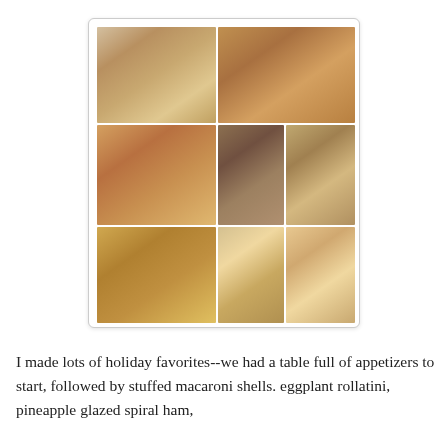[Figure (photo): A collage of 8 holiday food photos arranged in a grid: top row shows a caprese/appetizer plate and a ham/food spread; middle row shows a casserole dish, a table of appetizers, and side dishes; bottom row shows more food dishes, a pizza lasagna, and a deviled egg platter.]
I made lots of holiday favorites--we had a table full of appetizers to start, followed by stuffed macaroni shells. eggplant rollatini, pineapple glazed spiral ham,